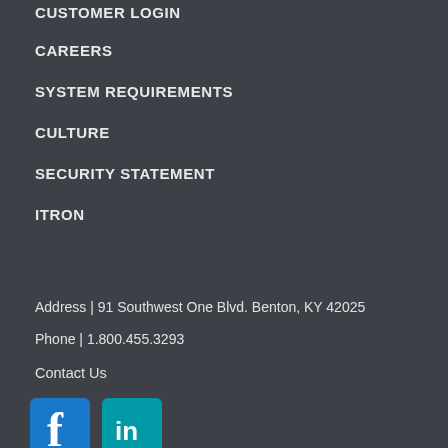CUSTOMER LOGIN
CAREERS
SYSTEM REQUIREMENTS
CULTURE
SECURITY STATEMENT
ITRON
Address | 91 Southwest One Blvd. Benton, KY 42025
Phone | 1.800.455.3293
Contact Us
[Figure (logo): Facebook and LinkedIn social media icons]